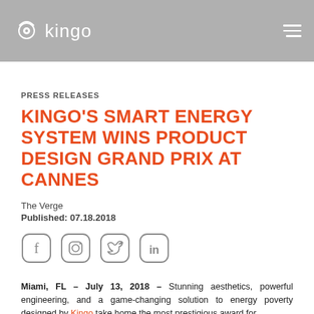kingo
PRESS RELEASES
KINGO'S SMART ENERGY SYSTEM WINS PRODUCT DESIGN GRAND PRIX AT CANNES
The Verge
Published: 07.18.2018
[Figure (other): Social media share icons: Facebook, Instagram, Twitter, LinkedIn]
Miami, FL – July 13, 2018 – Stunning aesthetics, powerful engineering, and a game-changing solution to energy poverty designed by Kingo take home the most prestigious award for